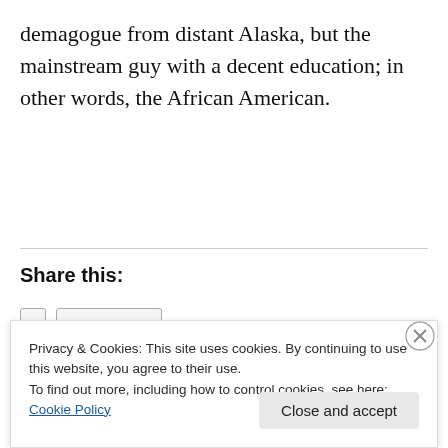demagogue from distant Alaska, but the mainstream guy with a decent education; in other words, the African American.
Share this:
Privacy & Cookies: This site uses cookies. By continuing to use this website, you agree to their use.
To find out more, including how to control cookies, see here: Cookie Policy